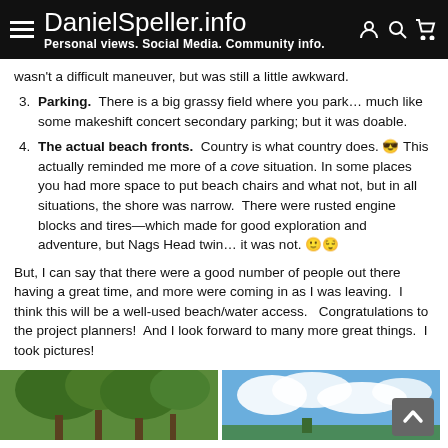DanielSpeller.info — Personal views. Social Media. Community info.
wasn't a difficult maneuver, but was still a little awkward.
3. Parking.  There is a big grassy field where you park… much like some makeshift concert secondary parking; but it was doable.
4. The actual beach fronts.  Country is what country does. 😎 This actually reminded me more of a cove situation. In some places you had more space to put beach chairs and what not, but in all situations, the shore was narrow.  There were rusted engine blocks and tires—which made for good exploration and adventure, but Nags Head twin… it was not. 🙂😌
But, I can say that there were a good number of people out there having a great time, and more were coming in as I was leaving.  I think this will be a well-used beach/water access.   Congratulations to the project planners!  And I look forward to many more great things.  I took pictures!
[Figure (photo): Photo of trees with green foliage]
[Figure (photo): Photo of blue sky with clouds]